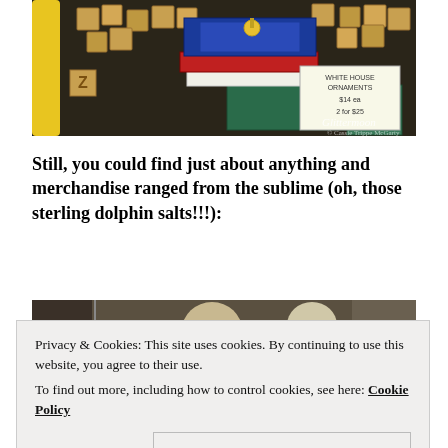[Figure (photo): Photo of flea market merchandise including stacked decorative boxes, alphabet blocks, a blue tin box with ornaments, and a price sign reading 'White House Ornaments $14 each 2 for $25'. Glittermoon watermark visible.]
Still, you could find just about anything and merchandise ranged from the sublime (oh, those sterling dolphin salts!!!):
[Figure (photo): Partial photo showing what appears to be decorative figurines or sculptures, partially obscured by the cookie consent banner.]
Privacy & Cookies: This site uses cookies. By continuing to use this website, you agree to their use.
To find out more, including how to control cookies, see here: Cookie Policy
Close and accept
[Figure (photo): Bottom partial photo showing silver or metallic decorative items, likely sterling dolphin salt cellars.]